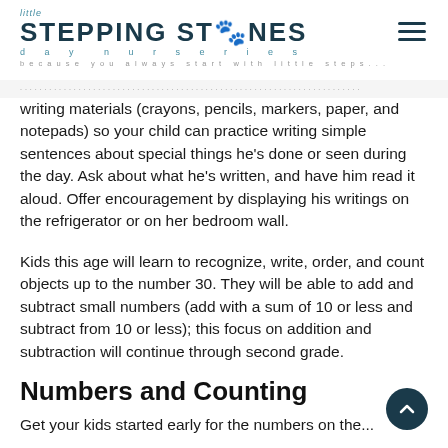little STEPPING STONES day nurseries — because you always start with little steps...
writing materials (crayons, pencils, markers, paper, and notepads) so your child can practice writing simple sentences about special things he's done or seen during the day. Ask about what he's written, and have him read it aloud. Offer encouragement by displaying his writings on the refrigerator or on her bedroom wall.
Kids this age will learn to recognize, write, order, and count objects up to the number 30. They will be able to add and subtract small numbers (add with a sum of 10 or less and subtract from 10 or less); this focus on addition and subtraction will continue through second grade.
Numbers and Counting
Get your kids started early for the numbers on the...